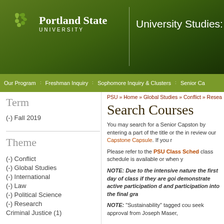Portland State University | University Studies: Senior Cap
Our Program | Freshman Inquiry | Sophomore Inquiry & Clusters | Senior Cap
PSU » Home » Global Studies » Conflict » Resea
Search Courses
Term
(-) Fall 2019
Theme
(-) Conflict
(-) Global Studies
(-) International
(-) Law
(-) Political Science
(-) Research
Criminal Justice (1)
You may search for a Senior Capstone by entering a part of the title or the ins review our Capstone Capsule. If you r
Please refer to the PSU Class Sched class schedule is available or when yo
NOTE:  Due to the intensive nature the first day of class if they are goi demonstrate active participation du and participation into the final gra
NOTE:  "Sustainability" tagged cou seek approval from Joseph Maser,